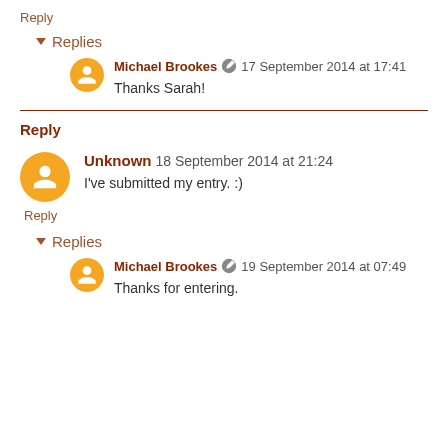Reply
▾ Replies
Michael Brookes 🖉 17 September 2014 at 17:41
Thanks Sarah!
Reply
Unknown 18 September 2014 at 21:24
I've submitted my entry. :)
Reply
▾ Replies
Michael Brookes 🖉 19 September 2014 at 07:49
Thanks for entering.